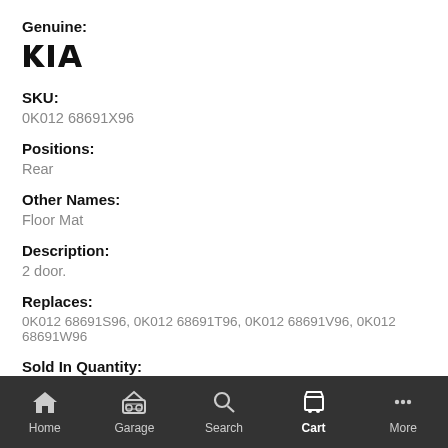Genuine:
[Figure (logo): Kia brand logo in dark/black style]
SKU:
0K012 68691X96
Positions:
Rear
Other Names:
Floor Mat
Description:
2 door.
Replaces:
0K012 68691S96, 0K012 68691T96, 0K012 68691V96, 0K012 68691W96
Sold In Quantity:
1
Home  Garage  Search  Cart  More